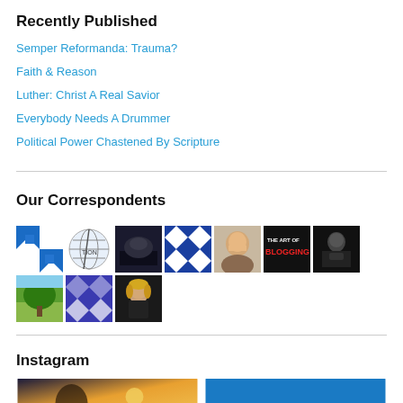Recently Published
Semper Reformanda: Trauma?
Faith & Reason
Luther: Christ A Real Savior
Everybody Needs A Drummer
Political Power Chastened By Scripture
Our Correspondents
[Figure (photo): Grid of correspondent avatar images — 10 small thumbnail photos/icons in two rows representing various blog correspondents]
Instagram
[Figure (photo): Two Instagram thumbnail preview images side by side at bottom of page]